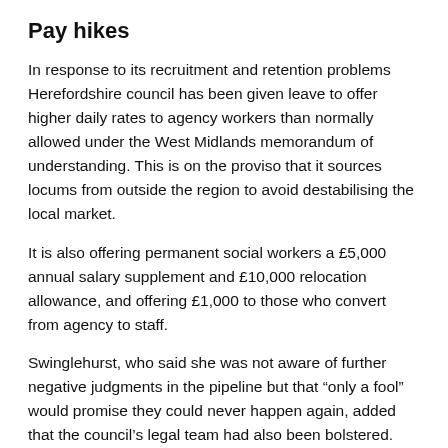Pay hikes
In response to its recruitment and retention problems Herefordshire council has been given leave to offer higher daily rates to agency workers than normally allowed under the West Midlands memorandum of understanding. This is on the proviso that it sources locums from outside the region to avoid destabilising the local market.
It is also offering permanent social workers a £5,000 annual salary supplement and £10,000 relocation allowance, and offering £1,000 to those who convert from agency to staff.
Swinglehurst, who said she was not aware of further negative judgments in the pipeline but that “only a fool” would promise they could never happen again, added that the council’s legal team had also been bolstered.
In response to questions from councillors about wider issues of transparency at Herefordshire, she endorsed the setting up of a task and finish group by the council’s